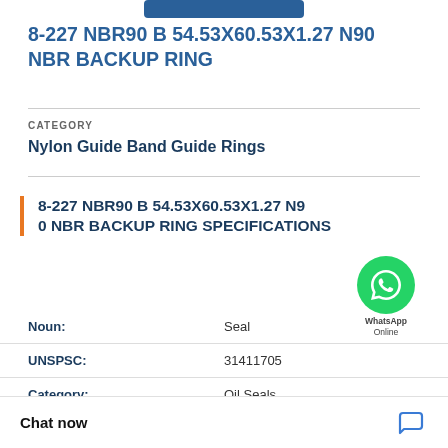8-227 NBR90 B 54.53X60.53X1.27 N90 NBR BACKUP RING
CATEGORY
Nylon Guide Band Guide Rings
8-227 NBR90 B 54.53X60.53X1.27 N90 0 NBR BACKUP RING SPECIFICATIONS
| Field | Value |
| --- | --- |
| Noun: | Seal |
| UNSPSC: | 31411705 |
| Category: | Oil Seals |
|  | 0.294 Inch / 7.468 |
Chat now